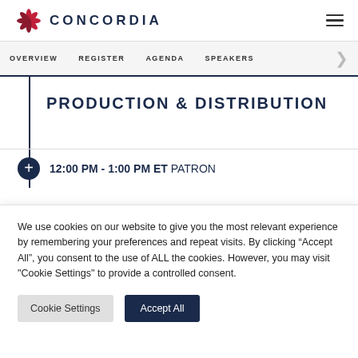CONCORDIA
OVERVIEW  REGISTER  AGENDA  SPEAKERS
PRODUCTION & DISTRIBUTION
12:00 PM - 1:00 PM ET PATRON
We use cookies on our website to give you the most relevant experience by remembering your preferences and repeat visits. By clicking "Accept All", you consent to the use of ALL the cookies. However, you may visit "Cookie Settings" to provide a controlled consent.
Cookie Settings  Accept All